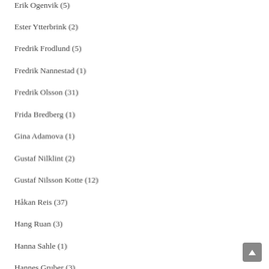Erik Ogenvik (5)
Ester Ytterbrink (2)
Fredrik Frodlund (5)
Fredrik Nannestad (1)
Fredrik Olsson (31)
Frida Bredberg (1)
Gina Adamova (1)
Gustaf Nilklint (2)
Gustaf Nilsson Kotte (12)
Håkan Reis (37)
Hang Ruan (3)
Hanna Sahle (1)
Hannes Gruber (3)
Henrik Andersson (3)
Henrik Bernstrom (5)
Henrik Feldt (5)